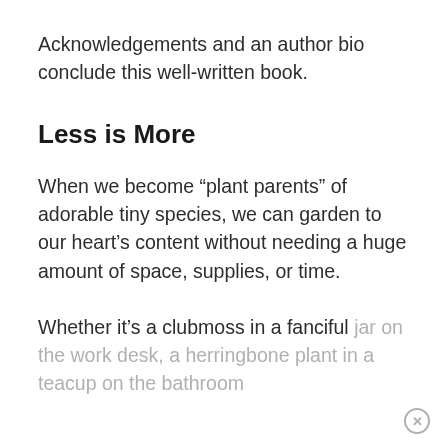Acknowledgements and an author bio conclude this well-written book.
Less is More
When we become “plant parents” of adorable tiny species, we can garden to our heart’s content without needing a huge amount of space, supplies, or time.
Whether it’s a clubmoss in a fanciful jar on the work desk, a herringbone plant in a teacup on the bathroom